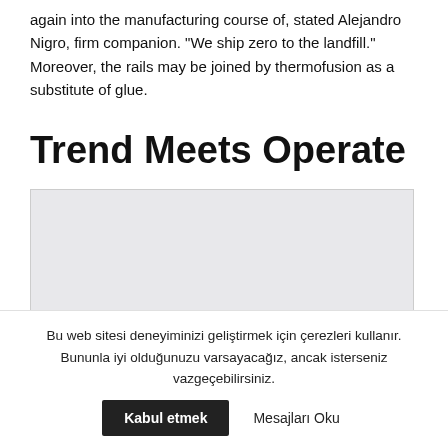again into the manufacturing course of, stated Alejandro Nigro, firm companion. "We ship zero to the landfill." Moreover, the rails may be joined by thermofusion as a substitute of glue.
Trend Meets Operate
[Figure (other): Light gray rectangular image placeholder area]
Bu web sitesi deneyiminizi geliştirmek için çerezleri kullanır. Bununla iyi olduğunuzu varsayacağız, ancak isterseniz vazgeçebilirsiniz.